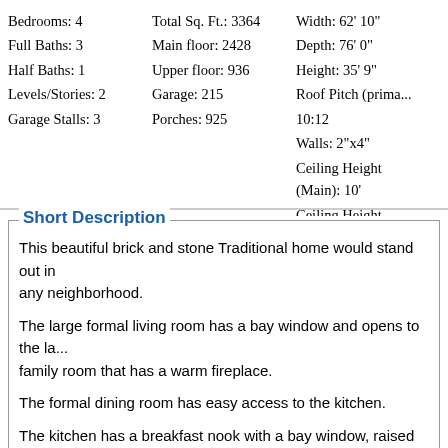Bedrooms: 4
Full Baths: 3
Half Baths: 1
Levels/Stories: 2
Garage Stalls: 3
Total Sq. Ft.: 3364
Main floor: 2428
Upper floor: 936
Garage: 215
Porches: 925
Width: 62' 10"
Depth: 76' 0"
Height: 35' 9"
Roof Pitch (primary): 10:12
Walls: 2"x4"
Ceiling Height (Main): 10'
Ceiling Height (Upper): 8'
Short Description
This beautiful brick and stone Traditional home would stand out in any neighborhood.
The large formal living room has a bay window and opens to the large family room that has a warm fireplace.
The formal dining room has easy access to the kitchen.
The kitchen has a breakfast nook with a bay window, raised snack island cabinet and a walk-in pantry.